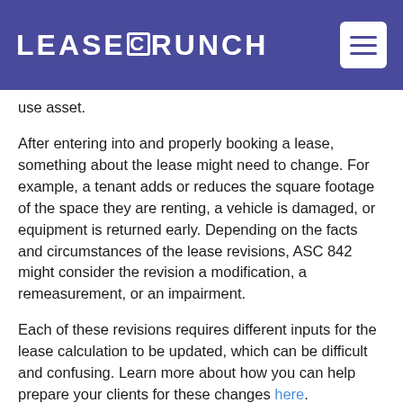LEASECRUNCH
use asset.
After entering into and properly booking a lease, something about the lease might need to change. For example, a tenant adds or reduces the square footage of the space they are renting, a vehicle is damaged, or equipment is returned early. Depending on the facts and circumstances of the lease revisions, ASC 842 might consider the revision a modification, a remeasurement, or an impairment.
Each of these revisions requires different inputs for the lease calculation to be updated, which can be difficult and confusing. Learn more about how you can help prepare your clients for these changes here.